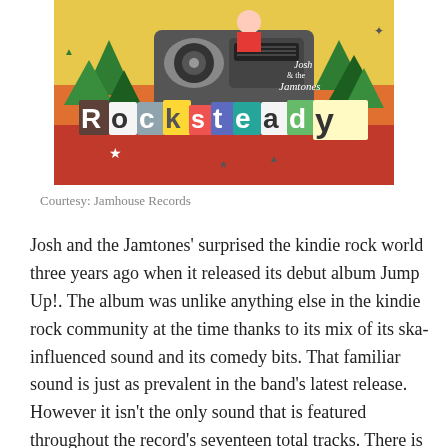[Figure (illustration): Album cover art for 'Rocksteady' by Josh & the Jamtones. Colorful collage style with boombox, trees, and large stylized text reading 'Rocksteady' with 'Josh & the Jamtones' written above.]
Courtesy: Jamhouse Records
Josh and the Jamtones' surprised the kindie rock world three years ago when it released its debut album Jump Up!. The album was unlike anything else in the kindie rock community at the time thanks to its mix of its ska-influenced sound and its comedy bits. That familiar sound is just as prevalent in the band's latest release. However it isn't the only sound that is featured throughout the record's seventeen total tracks. There is also a hint of hip-hop and even a touch of reggae peppered into this album. That the